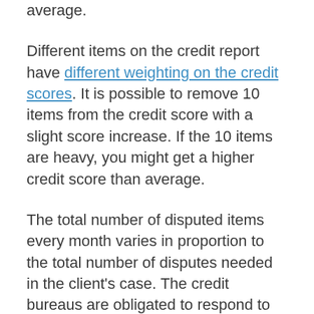average.
Different items on the credit report have different weighting on the credit scores. It is possible to remove 10 items from the credit score with a slight score increase. If the 10 items are heavy, you might get a higher credit score than average.
The total number of disputed items every month varies in proportion to the total number of disputes needed in the client's case. The credit bureaus are obligated to respond to all disputes within 30 days after receiving them. Clients usually see positive changes within 45 days in this company.
In the year 2014, the firm have...